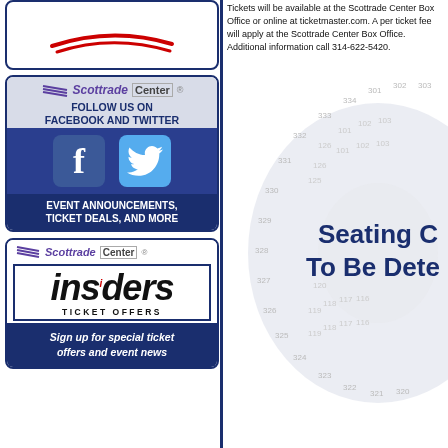[Figure (logo): Partial logo with red swoosh lines at top of left column]
[Figure (infographic): Scottrade Center social media promotion box with Facebook and Twitter icons. Text: FOLLOW US ON FACEBOOK AND TWITTER, EVENT ANNOUNCEMENTS, TICKET DEALS, AND MORE]
[Figure (infographic): Scottrade Center Insiders Ticket Offers box. Sign up for special ticket offers and event news]
Tickets will be available at the Scottrade Center Box Office or online at ticketmaster.com. A per ticket fee will apply at the Scottrade Center Box Office. Additional information call 314-622-5420.
[Figure (other): Partial seating chart diagram for Scottrade Center showing section numbers (301-334, 320-331, 115-126, 118-120, 320-325) with text overlay: Seating Chart To Be Determined]